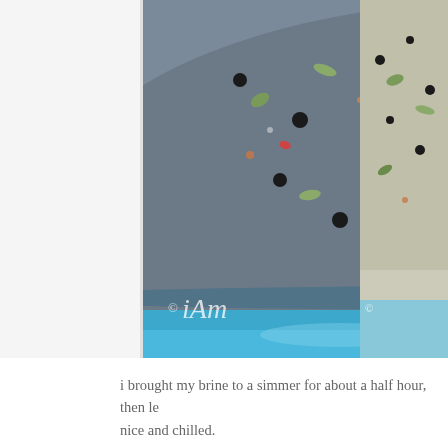[Figure (photo): Close-up photograph of a blue enamel pot filled with dark brine liquid containing spices including black peppercorns, green herbs, and red pepper flakes. A wooden spoon is visible on the right side of the pot. A watermark reading '© iAm' appears in the lower left. A second partial photo of a similar scene is visible on the right edge.]
i brought my brine to a simmer for about a half hour, then le nice and chilled.